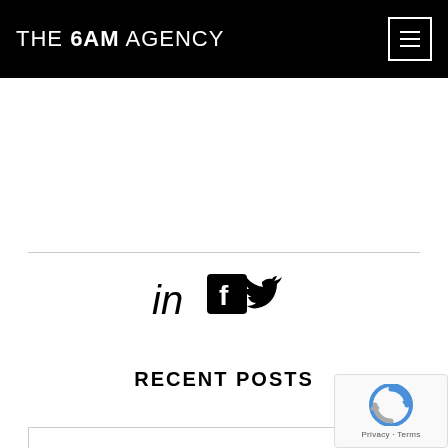THE 6AM AGENCY
[Figure (other): Social media icons: LinkedIn (in), Facebook (f), Twitter bird icon]
RECENT POSTS